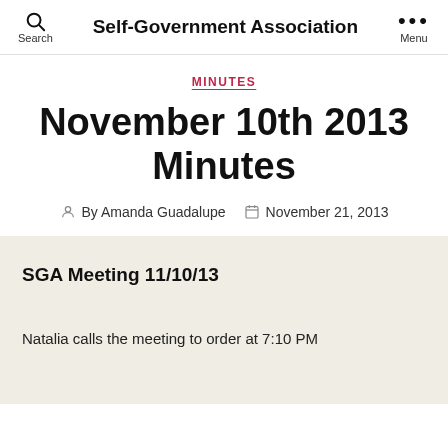Self-Government Association
MINUTES
November 10th 2013 Minutes
By Amanda Guadalupe   November 21, 2013
SGA Meeting 11/10/13
Natalia calls the meeting to order at 7:10 PM